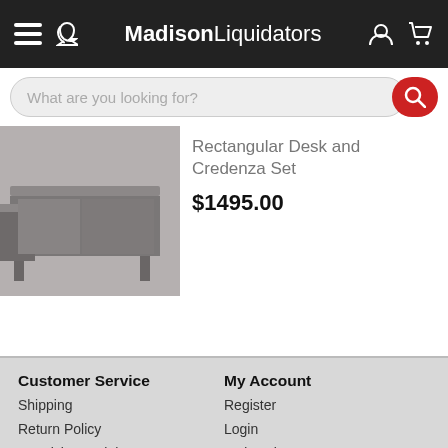MadisonLiquidators
What are you looking for?
[Figure (photo): Photo of a gray rectangular desk and credenza set product thumbnail]
Rectangular Desk and Credenza Set
$1495.00
Customer Service
Shipping
Return Policy
Receiving Freight
Customer Support
My Account
Register
Login
Order History
Account Settings
Company Information
About Us
Location & Hours
Careers
Testimonials
Tools & Resources
Office Furniture
Office Furniture Blog
Shop by Brand
Shop by Series